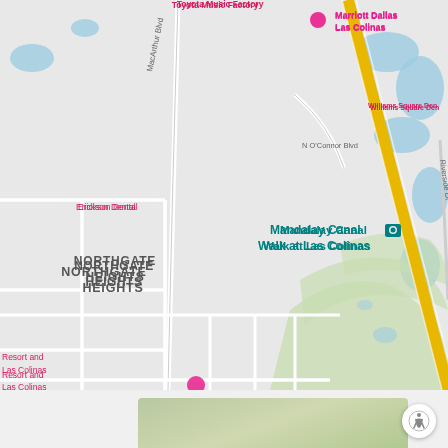[Figure (map): Google Maps screenshot showing Las Colinas area in Irving, Texas. Shows landmarks including Toyota Music Factory, Marriott Dallas Las Colinas, Mandalay Canal Walk at Las Colinas, Las Colinas Country Club, Northgate Heights neighborhood, Fox Glen neighborhood, University Hills neighborhood, Tom Thumb grocery store, Erickson Dental, Resort and Las Colinas, and various roads including MacArthur Blvd, N O'Connor Blvd, Leland Blvd, Riverside Dr, and highway 114. Blue water bodies visible in upper right. Green area shows golf course. Various map pins in pink, teal, green, blue colors.]
[Figure (photo): Partial view of a green/olive colored image at the bottom of the page, likely a photo or aerial view.]